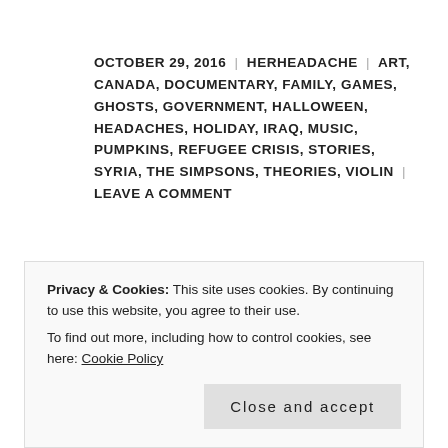OCTOBER 29, 2016 | HERHEADACHE | ART, CANADA, DOCUMENTARY, FAMILY, GAMES, GHOSTS, GOVERNMENT, HALLOWEEN, HEADACHES, HOLIDAY, IRAQ, MUSIC, PUMPKINS, REFUGEE CRISIS, STORIES, SYRIA, THE SIMPSONS, THEORIES, VIOLIN | LEAVE A COMMENT
Almost Halloween and it made my day to receive happy updates on my phone of my friend and her little girl, who is enjoying pumpkins and
Privacy & Cookies: This site uses cookies. By continuing to use this website, you agree to their use.
To find out more, including how to control cookies, see here: Cookie Policy
Close and accept